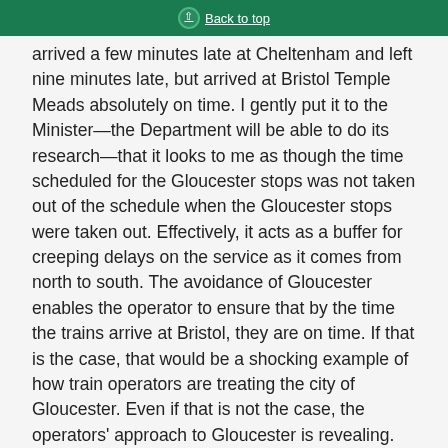Back to top
arrived a few minutes late at Cheltenham and left nine minutes late, but arrived at Bristol Temple Meads absolutely on time. I gently put it to the Minister—the Department will be able to do its research—that it looks to me as though the time scheduled for the Gloucester stops was not taken out of the schedule when the Gloucester stops were taken out. Effectively, it acts as a buffer for creeping delays on the service as it comes from north to south. The avoidance of Gloucester enables the operator to ensure that by the time the trains arrive at Bristol, they are on time. If that is the case, that would be a shocking example of how train operators are treating the city of Gloucester. Even if that is not the case, the operators' approach to Gloucester is revealing.